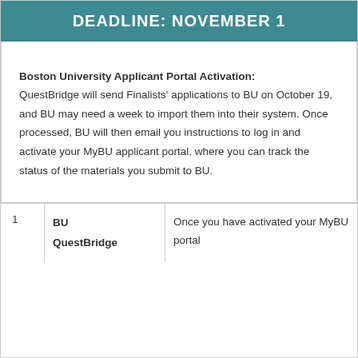DEADLINE: NOVEMBER 1
Boston University Applicant Portal Activation: QuestBridge will send Finalists' applications to BU on October 19, and BU may need a week to import them into their system. Once processed, BU will then email you instructions to log in and activate your MyBU applicant portal, where you can track the status of the materials you submit to BU.
| 1 | BU
QuestBridge | Once you have activated your MyBU portal |